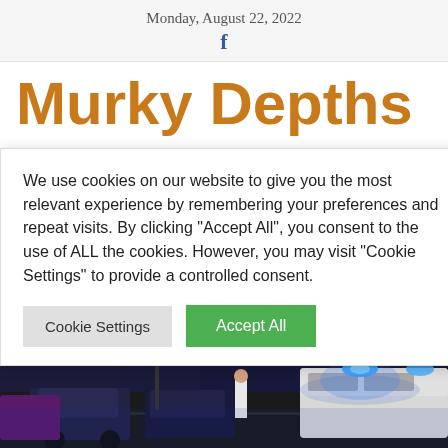Monday, August 22, 2022
Murky Depths
We use cookies on our website to give you the most relevant experience by remembering your preferences and repeat visits. By clicking “Accept All”, you consent to the use of ALL the cookies. However, you may visit “Cookie Settings” to provide a controlled consent.
[Figure (photo): Night-time street scene with police vehicles showing blue flashing lights, people standing near cars on a busy street with buildings in the background.]